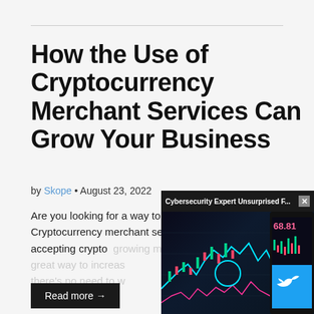How the Use of Cryptocurrency Merchant Services Can Grow Your Business
by Skope • August 23, 2022
Are you looking for a way to grow your company? Cryptocurrency merchant services may be the answer. By accepting crypto, growing market of d... great way to increas... there's no need to w...
[Figure (screenshot): Video overlay popup showing a cryptocurrency trading chart with candlestick patterns, price label '68.81', a mute button, a Twitter logo, and popup title 'Cybersecurity Expert Unsurprised F...' with a close button]
Read more →